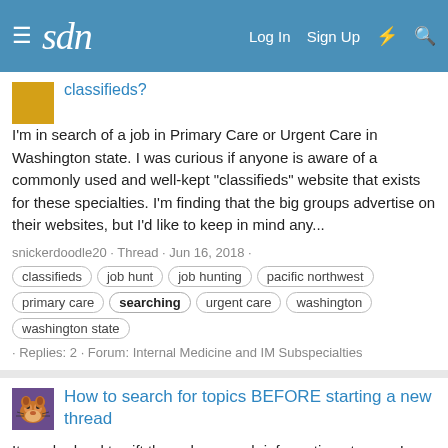sdn — Log In  Sign Up
classifieds?
I'm in search of a job in Primary Care or Urgent Care in Washington state. I was curious if anyone is aware of a commonly used and well-kept "classifieds" website that exists for these specialties. I'm finding that the big groups advertise on their websites, but I'd like to keep in mind any...
snickerdoodle20 · Thread · Jun 16, 2018 · classifieds · job hunt · job hunting · pacific northwest · primary care · searching · urgent care · washington · washington state · Replies: 2 · Forum: Internal Medicine and IM Subspecialties
How to search for topics BEFORE starting a new thread
It can be hard to sift through so much information at once. I know it's easier to just ask whatever it is you want to ask about. But... when everyone starts a new thread any time they have a question, things get congested and even more confusing. Using the search function is easy. Here, let me...
twelvetigers · Thread · May 16, 2016 · don't be annoying · don't start a new thread · how to search the forums · instructions